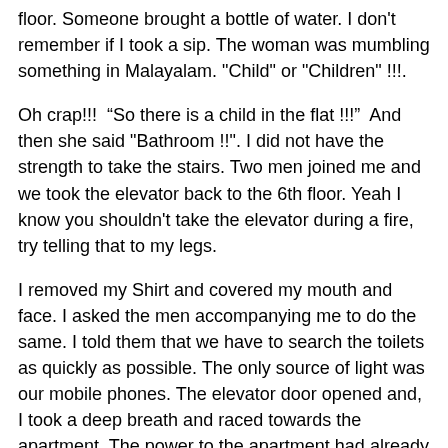floor. Someone brought a bottle of water. I don't remember if I took a sip. The woman was mumbling something in Malayalam. "Child" or "Children" !!!.
Oh crap!!!  “So there is a child in the flat !!!”  And then she said "Bathroom !!". I did not have the strength to take the stairs. Two men joined me and we took the elevator back to the 6th floor. Yeah I know you shouldn't take the elevator during a fire, try telling that to my legs.
I removed my Shirt and covered my mouth and face. I asked the men accompanying me to do the same. I told them that we have to search the toilets as quickly as possible. The only source of light was our mobile phones. The elevator door opened and, I took a deep breath and raced towards the apartment. The power to the apartment had already been been turned off. It was pitch dark. The flames had died down but the fumes were thicker than before. It was as if I was diving under water, I could hear my heart beat. The mild illumination of our mobile phone were just that: Mild illuminations. The apartment is exactly the same as my apartment on the first floor. I did not need illumination to